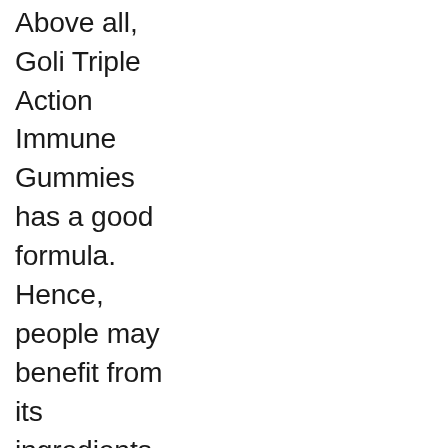Above all, Goli Triple Action Immune Gummies has a good formula. Hence, people may benefit from its ingredients. Suppose you are searching for a dietary supplement with Zinc, vitamins C, and D, a proprietary mix of turmeric, ginger and echinacea, Elderberry extract, and other ingredients. In that case, you can try Goli Triple Action Immune Gummies.
Is the Product Worth It?
Whether a product is worth, it can be determined by considering its overall